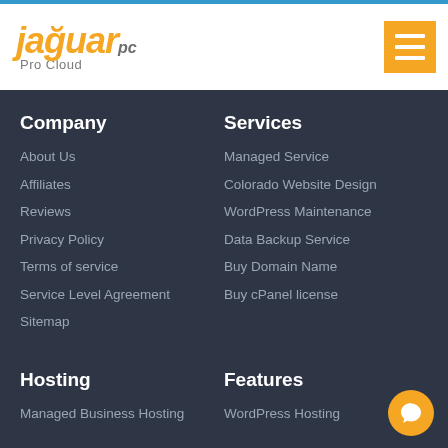[Figure (logo): JaguarPC Pro Cloud logo with orange jaguar text and grey PC text]
Company
About Us
Affiliates
Reviews
Privacy Policy
Terms of service
Service Level Agreement
Sitemap
Services
Managed Service
Colorado Website Design
WordPress Maintenance
Data Backup Service
Buy Domain Name
Buy cPanel license
Hosting
Managed Business Hosting
Features
WordPress Hosting